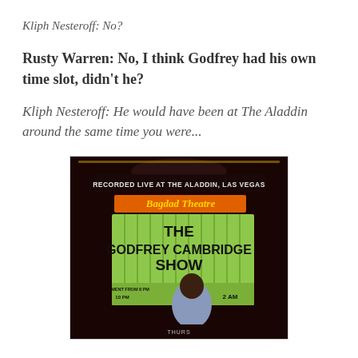Kliph Nesteroff: No?
Rusty Warren: No, I think Godfrey had his own time slot, didn't he?
Kliph Nesteroff: He would have been at The Aladdin around the same time you were...
[Figure (photo): Photo of a man in a light blue suit standing in front of the Bagdad Theatre marquee at The Aladdin, Las Vegas. The marquee reads 'RECORDED LIVE AT THE ALADDIN, LAS VEGAS', 'Bagdad Theatre', 'THE GODFREY CAMBRIDGE SHOW', '10 PM', 'THRU', '2 AM'.]